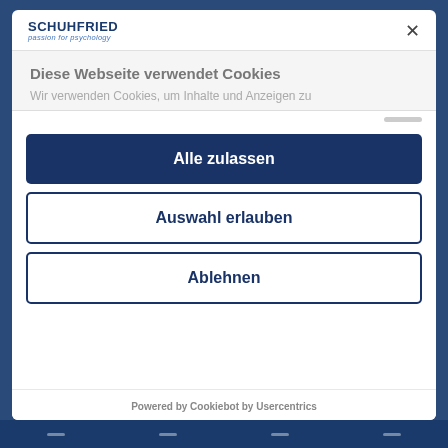[Figure (logo): SCHUHFRIED logo with tagline 'passion for psychology']
Diese Webseite verwendet Cookies
Wir verwenden Cookies, um Inhalte und Anzeigen zu
Alle zulassen
Auswahl erlauben
Ablehnen
Powered by Cookiebot by Usercentrics